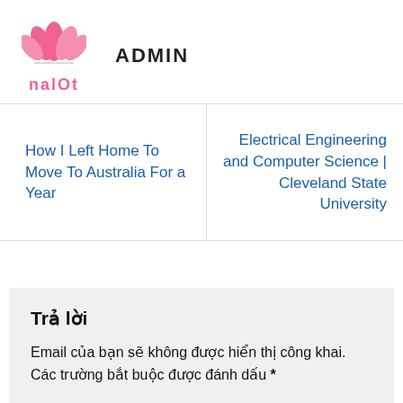[Figure (logo): Pink lotus flower SVG logo above pink text 'nalOt']
ADMIN
How I Left Home To Move To Australia For a Year
Electrical Engineering and Computer Science | Cleveland State University
Trả lời
Email của bạn sẽ không được hiển thị công khai. Các trường bắt buộc được đánh dấu *